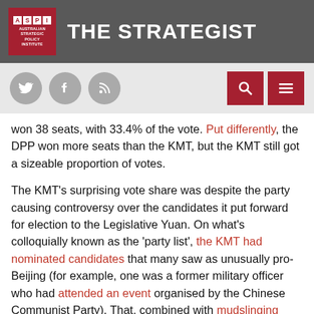THE STRATEGIST — Australian Strategic Policy Institute
won 38 seats, with 33.4% of the vote. Put differently, the DPP won more seats than the KMT, but the KMT still got a sizeable proportion of votes.
The KMT’s surprising vote share was despite the party causing controversy over the candidates it put forward for election to the Legislative Yuan. On what’s colloquially known as the ‘party list’, the KMT had nominated candidates that many saw as unusually pro-Beijing (for example, one was a former military officer who had attended an event organised by the Chinese Communist Party). That, combined with mudslinging from the KMT’s deputy secretary-general, brought the party’s integrity into question.
Despite poor judgement from its senior leadership, the KMT managed to do reasonably well in the Legislative Yuan. With